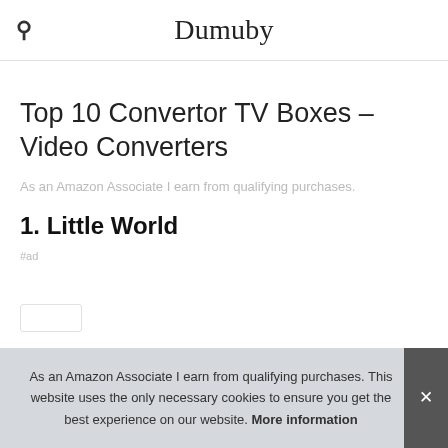Dumuby
Top 10 Convertor TV Boxes – Video Converters
As an Amazon Associate I earn from qualifying purchases.
1. Little World
#ad
As an Amazon Associate I earn from qualifying purchases. This website uses the only necessary cookies to ensure you get the best experience on our website. More information